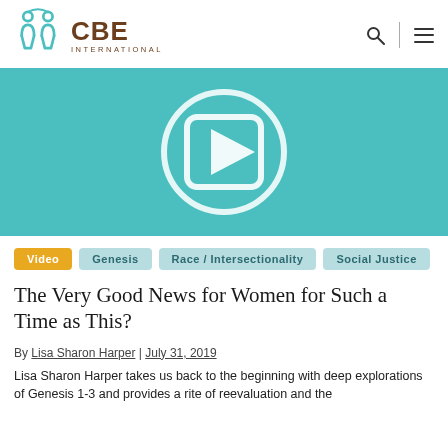CBE International
[Figure (screenshot): Teal video thumbnail with a white play button circle and rounded square icon in the center]
Video
Genesis
Race / Intersectionality
Social Justice
The Very Good News for Women for Such a Time as This?
By Lisa Sharon Harper | July 31, 2019
Lisa Sharon Harper takes us back to the beginning with deep explorations of Genesis 1-3 and provides a rite of reevaluation and the